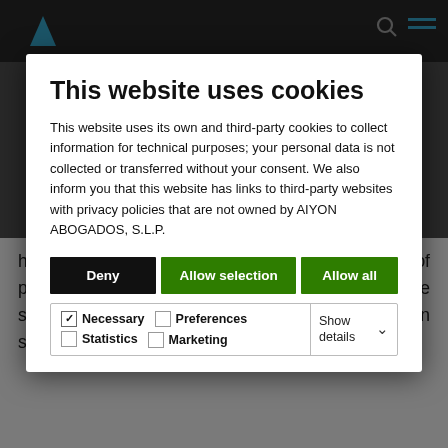[Figure (screenshot): Website cookie consent modal dialog overlay on a law firm website (AIYON ABOGADOS, S.L.P.). Dark background overlay with white modal box containing cookie consent options.]
This website uses cookies
This website uses its own and third-party cookies to collect information for technical purposes; your personal data is not collected or transferred without your consent. We also inform you that this website has links to third-party websites with privacy policies that are not owned by AIYON ABOGADOS, S.L.P.
Deny | Allow selection | Allow all
☑ Necessary  ☐ Preferences  ☐ Statistics  ☐ Marketing  Show details ∨
have increased alarmingly in these complex times of pandemic we are experiencing); improving the supervision of some airlines currently operating in some Member States.